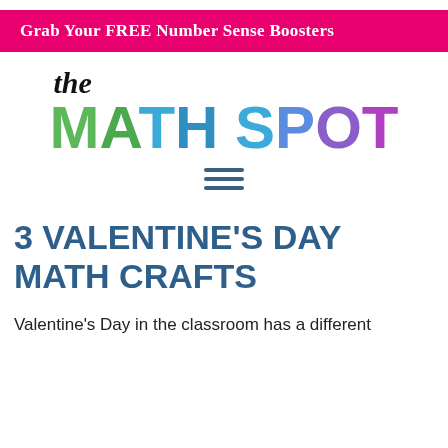Grab Your FREE Number Sense Boosters
[Figure (logo): The Math Spot logo with 'the' in black italic script, 'MATH' in green-to-blue gradient letters, 'SPOT' in blue-to-purple gradient letters]
[Figure (other): Hamburger menu icon (three horizontal lines) in dark blue]
3 VALENTINE'S DAY MATH CRAFTS
Valentine's Day in the classroom has a different